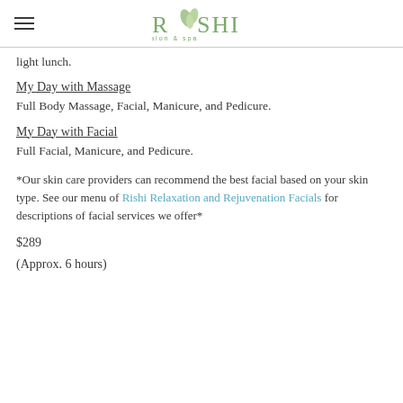Rishi salon & spa
light lunch.
My Day with Massage
Full Body Massage, Facial, Manicure, and Pedicure.
My Day with Facial
Full Facial, Manicure, and Pedicure.
*Our skin care providers can recommend the best facial based on your skin type. See our menu of Rishi Relaxation and Rejuvenation Facials for descriptions of facial services we offer*
$289
(Approx. 6 hours)